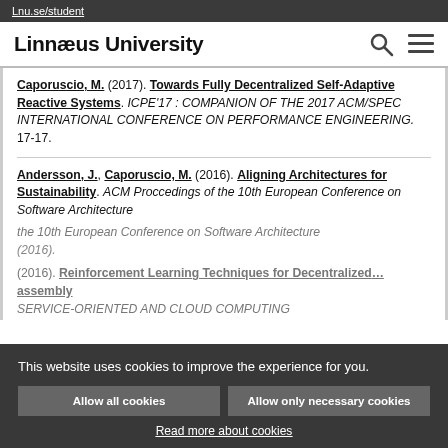Lnu.se/student
Linnæus University
Caporuscio, M. (2017). Towards Fully Decentralized Self-Adaptive Reactive Systems. ICPE'17 : COMPANION OF THE 2017 ACM/SPEC INTERNATIONAL CONFERENCE ON PERFORMANCE ENGINEERING. 17-17.
Andersson, J., Caporuscio, M. (2016). Aligning Architectures for Sustainability. ACM Proccedings of the 10th European Conference on Software Architecture (2016).
(2016). Reinforcement Learning Techniques for Decentralized ... assembly SERVICE-ORIENTED AND CLOUD COMPUTING
This website uses cookies to improve the experience for you.
Allow all cookies | Allow only necessary cookies
Read more about cookies